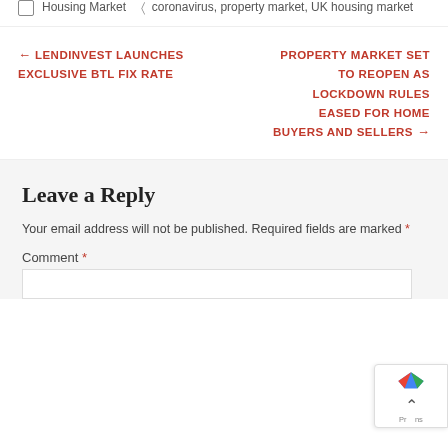Housing Market   coronavirus, property market, UK housing market
← LENDINVEST LAUNCHES EXCLUSIVE BTL FIX RATE
PROPERTY MARKET SET TO REOPEN AS LOCKDOWN RULES EASED FOR HOME BUYERS AND SELLERS →
Leave a Reply
Your email address will not be published. Required fields are marked *
Comment *